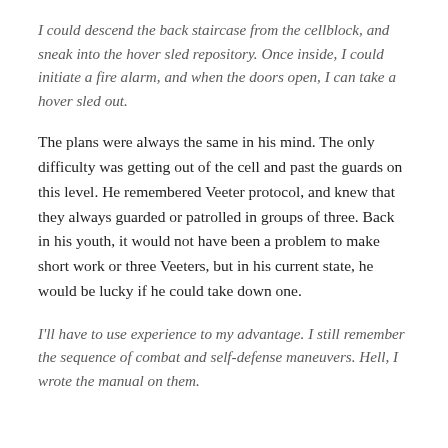I could descend the back staircase from the cellblock, and sneak into the hover sled repository. Once inside, I could initiate a fire alarm, and when the doors open, I can take a hover sled out.
The plans were always the same in his mind. The only difficulty was getting out of the cell and past the guards on this level. He remembered Veeter protocol, and knew that they always guarded or patrolled in groups of three. Back in his youth, it would not have been a problem to make short work or three Veeters, but in his current state, he would be lucky if he could take down one.
I'll have to use experience to my advantage. I still remember the sequence of combat and self-defense maneuvers. Hell, I wrote the manual on them.